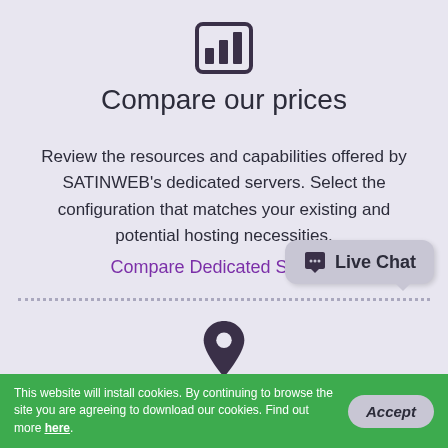[Figure (illustration): Bar chart icon in dark purple/charcoal color, inside a rounded square border]
Compare our prices
Review the resources and capabilities offered by SATINWEB's dedicated servers. Select the configuration that matches your existing and potential hosting necessities.
Compare Dedicated Servers
[Figure (illustration): Map pin / location icon in dark purple/charcoal color]
Contact Us
[Figure (illustration): Live Chat speech bubble button, grey rounded rectangle with speech bubble icon and 'Live Chat' text]
This website will install cookies. By continuing to browse the site you are agreeing to download our cookies. Find out more here.